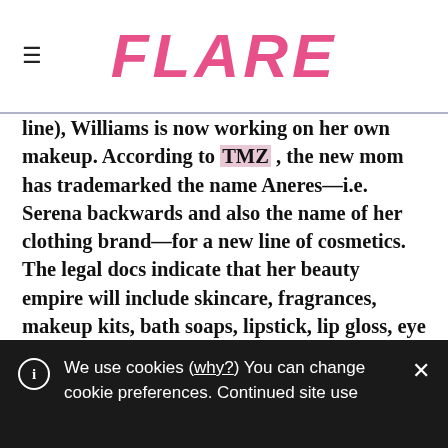FLARE
line), Williams is now working on her own makeup. According to TMZ , the new mom has trademarked the name Aneres—i.e. Serena backwards and also the name of her clothing brand—for a new line of cosmetics. The legal docs indicate that her beauty empire will include skincare, fragrances, makeup kits, bath soaps, lipstick, lip gloss, eye shadow, eyeliner, mascara and makeup-removing products.
We use cookies (why?) You can change cookie preferences. Continued site use